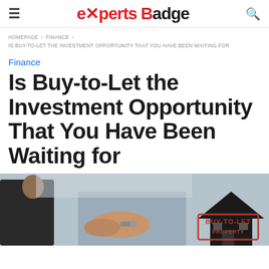experts Badge
HOMEPAGE > FINANCE > IS BUY-TO-LET THE INVESTMENT OPPORTUNITY THAT YOU HAVE BEEN WAITING FOR
Finance
Is Buy-to-Let the Investment Opportunity That You Have Been Waiting for
[Figure (photo): Two people shaking hands over a deal, with a house icon and 'BUY-TO-LET' stamp overlay in the bottom right corner]